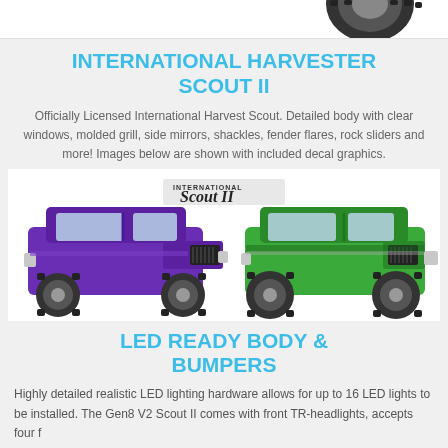[Figure (photo): Partial view of a large RC car tire at the top of the page]
INTERNATIONAL HARVESTER SCOUT II
Officially Licensed International Harvest Scout. Detailed body with clear windows, molded grill, side mirrors, shackles, fender flares, rock sliders and more!  Images below are shown with included decal graphics.
[Figure (photo): Two RC International Harvester Scout II vehicles side by side — one purple on the left and one green on the right — with International Scout II decal graphic overlay]
LED READY BODY & BUMPERS
Highly detailed realistic LED lighting hardware allows for up to 16 LED lights to be installed. The Gen8 V2 Scout II comes with front TR-headlights, accepts four f